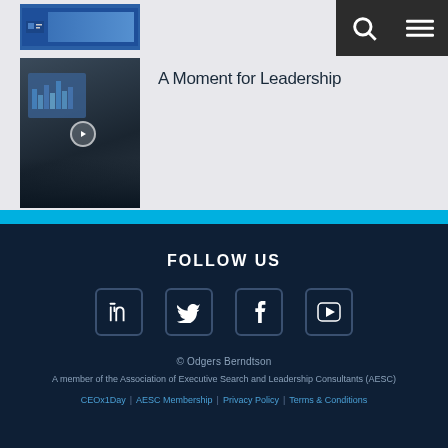[Figure (screenshot): Thumbnail image at top showing a blue banner/logo]
[Figure (photo): Photo of business people presenting at a screen with charts]
A Moment for Leadership
FOLLOW US
[Figure (illustration): Social media icons: LinkedIn, Twitter, Facebook, YouTube]
© Odgers Berndtson
A member of the Association of Executive Search and Leadership Consultants (AESC)
CEOx1Day | AESC Membership | Privacy Policy | Terms & Conditions